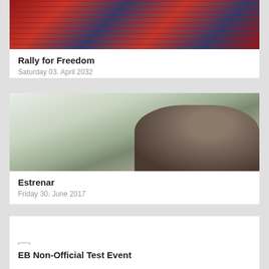[Figure (photo): Photo of people holding American flags at a rally]
Rally for Freedom
Saturday 03. April 2032
[Figure (photo): Photo of a person with dark hair, close-up portrait]
Estrenar
Friday 30. June 2017
[Figure (photo): Broken/missing image placeholder for EB Non-Official Test Event]
EB Non-Official Test Event
EB Non-Official Test Event